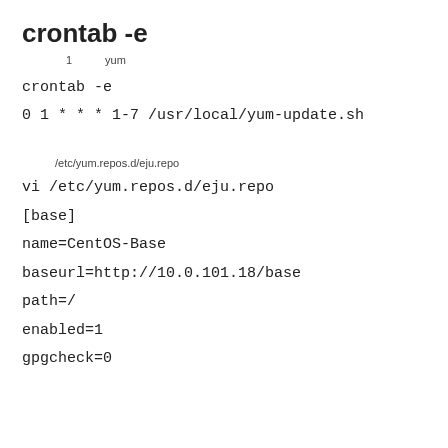crontab -e
1　　　yum
crontab -e
0 1 * * * 1-7 /usr/local/yum-update.sh
/etc/yum.repos.d/eju.repo
vi /etc/yum.repos.d/eju.repo
[base]
name=CentOS-Base
baseurl=http://10.0.101.18/base
path=/
enabled=1
gpgcheck=0